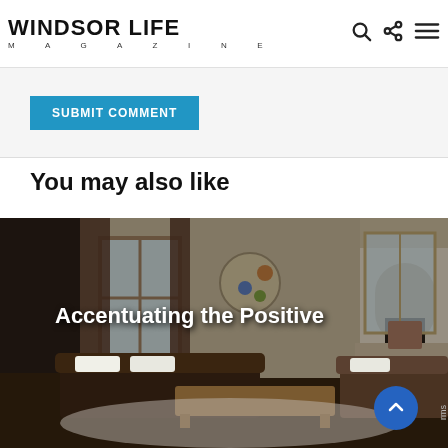WINDSOR LIFE MAGAZINE
SUBMIT COMMENT
You may also like
[Figure (photo): Interior living room photo with leather sofas, coffee table, fireplace and high ceilings, with overlay text 'Accentuating the Positive']